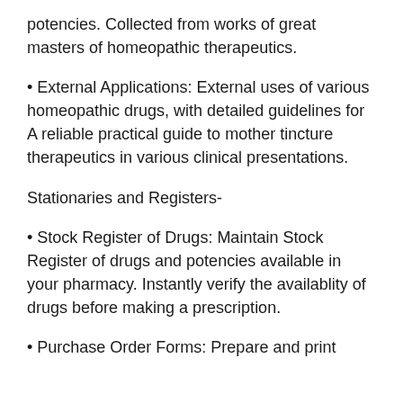potencies. Collected from works of great masters of homeopathic therapeutics.
• External Applications: External uses of various homeopathic drugs, with detailed guidelines for A reliable practical guide to mother tincture therapeutics in various clinical presentations.
Stationaries and Registers-
• Stock Register of Drugs: Maintain Stock Register of drugs and potencies available in your pharmacy. Instantly verify the availablity of drugs before making a prescription.
• Purchase Order Forms: Prepare and print